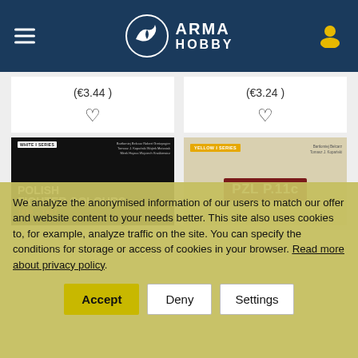ARMA HOBBY
(€3.44 )
(€3.24 )
[Figure (illustration): Polish Fighter Colours 1939-1947 vol.1 book cover (White Series)]
[Figure (illustration): PZL P.11c book cover (Yellow Series)]
We analyze the anonymised information of our users to match our offer and website content to your needs better. This site also uses cookies to, for example, analyze traffic on the site. You can specify the conditions for storage or access of cookies in your browser. Read more about privacy policy.